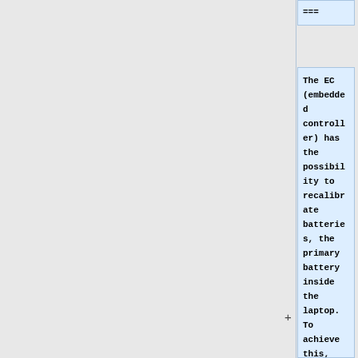===
The EC (embedded controller) has the possibility to recalibrate batteries, the primary battery inside the laptop. To achieve this, plug the computer to AC and do the following to have the